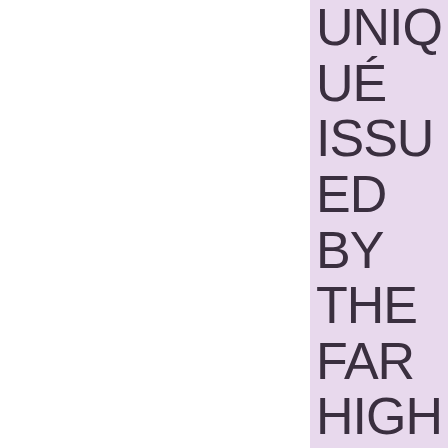UNIQUÉ ISSUED BY THE FAR HIGH COMMAND AND OPERATIONAL SECTOR COMM